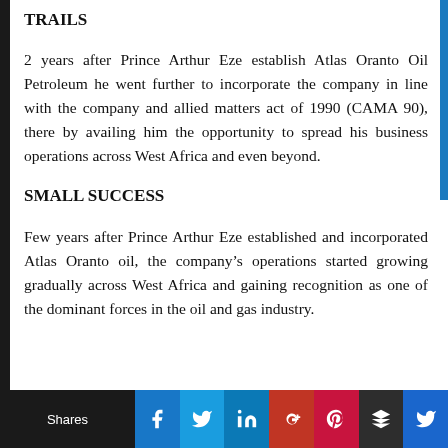TRAILS
2 years after Prince Arthur Eze establish Atlas Oranto Oil Petroleum he went further to incorporate the company in line with the company and allied matters act of 1990 (CAMA 90), there by availing him the opportunity to spread his business operations across West Africa and even beyond.
SMALL SUCCESS
Few years after Prince Arthur Eze established and incorporated Atlas Oranto oil, the company’s operations started growing gradually across West Africa and gaining recognition as one of the dominant forces in the oil and gas industry.
Shares